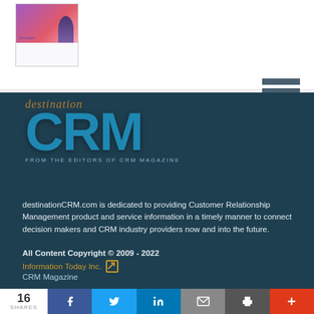[Figure (illustration): Thumbnail image of a CRM/technology report cover with purple and pink gradient and a figure silhouette]
[Figure (illustration): Hamburger menu icon with 'More' label]
[Figure (logo): destination CRM magazine logo — 'destination' in orange italic above large blue 'CRM' letters, with 'FROM THE EDITORS OF CRM MAGAZINE' tagline]
destinationCRM.com is dedicated to providing Customer Relationship Management product and service information in a timely manner to connect decision makers and CRM industry providers now and into the future.
All Content Copyright © 2009 - 2022
Information Today Inc.
CRM Magazine
16 SHARES   f   t   in   ✉   🖨   +